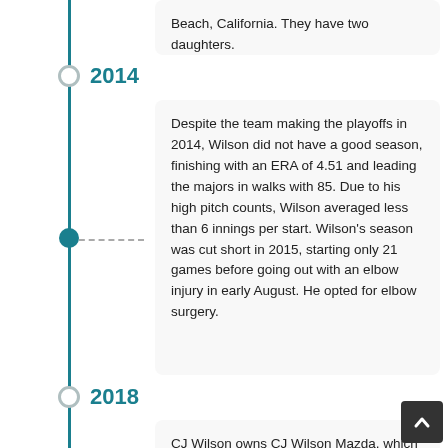Beach, California. They have two daughters.
2014
Despite the team making the playoffs in 2014, Wilson did not have a good season, finishing with an ERA of 4.51 and leading the majors in walks with 85. Due to his high pitch counts, Wilson averaged less than 6 innings per start. Wilson's season was cut short in 2015, starting only 21 games before going out with an elbow injury in early August. He opted for elbow surgery.
2018
CJ Wilson owns CJ Wilson Mazda, which operates dealerships in Countryside, Illinois, Orland Park, Illinois, Lake Villa, Illinois and Ventura, California. He also is the General Manager of Porsche Fresno and raced in the 2018 Pikes Peak International Hill Climb,